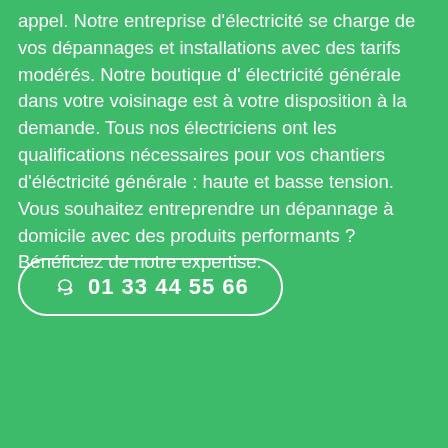appel. Notre entreprise d'électricité se charge de vos dépannages et installations avec des tarifs modérés. Notre boutique d' électricité générale dans votre voisinage est à votre disposition à la demande. Tous nos électriciens ont les qualifications nécessaires pour vos chantiers d'éléctricité générale : haute et basse tension. Vous souhaitez entreprendre un dépannage à domicile avec des produits performants ? Bénéficiez de notre expertise.
🎧 01 33 44 55 66